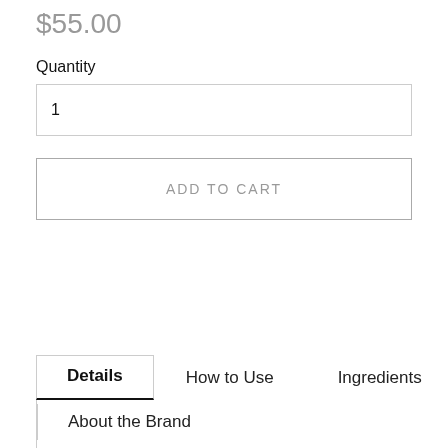$55.00
Quantity
1
ADD TO CART
Details
How to Use
Ingredients
About the Brand